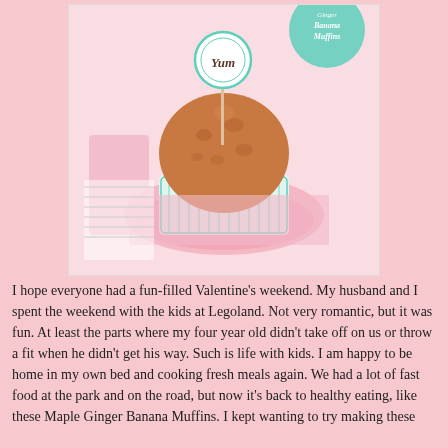[Figure (photo): A banana muffin in a mint green and white cupcake liner sitting on a pink plate, with a 'Yum' topper decoration. In the background are teal and pink decorative items including what appears to be a label reading 'Banana Muffins'.]
I hope everyone had a fun-filled Valentine's weekend.  My husband and I spent the weekend with the kids at Legoland.  Not very romantic, but it was fun.  At least the parts where my four year old didn't take off on us or throw a fit when he didn't get his way.  Such is life with kids.  I am happy to be home in my own bed and cooking fresh meals again.  We had a lot of fast food at the park and on the road, but now it's back to healthy eating, like these Maple Ginger Banana Muffins.  I kept wanting to try making these